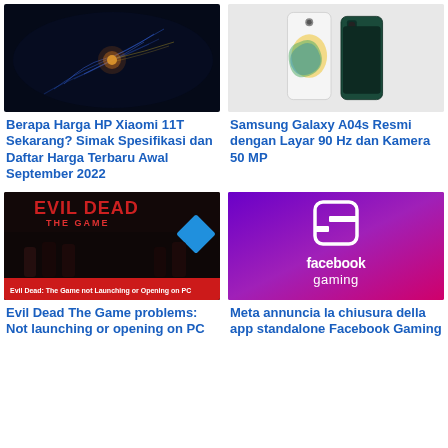[Figure (photo): Dark underwater/space scene with glowing yellow-orange organism and blue light trails]
[Figure (photo): Samsung Galaxy A04s smartphone in two colors - white with swirl design and dark green]
Berapa Harga HP Xiaomi 11T Sekarang? Simak Spesifikasi dan Daftar Harga Terbaru Awal September 2022
Samsung Galaxy A04s Resmi dengan Layar 90 Hz dan Kamera 50 MP
[Figure (photo): Evil Dead The Game promotional image with red text banner: Evil Dead: The Game not Launching or Opening on PC]
[Figure (logo): Facebook Gaming logo on purple-magenta gradient background]
Evil Dead The Game problems: Not launching or opening on PC
Meta annuncia la chiusura della app standalone Facebook Gaming